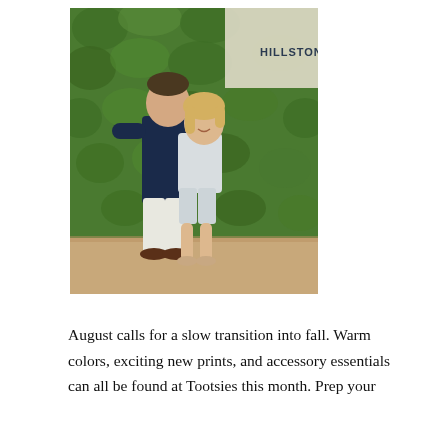[Figure (photo): A couple standing in front of a green ivy-covered wall with a 'HILLSTONE' sign. The man is kissing the woman on the cheek; he is wearing a dark navy shirt and white pants. The woman is wearing a light striped outfit and heeled sandals.]
August calls for a slow transition into fall. Warm colors, exciting new prints, and accessory essentials can all be found at Tootsies this month. Prep your